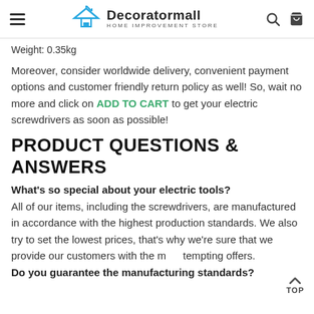Decoratormall HOME IMPROVEMENT STORE
Weight: 0.35kg
Moreover, consider worldwide delivery, convenient payment options and customer friendly return policy as well! So, wait no more and click on ADD TO CART to get your electric screwdrivers as soon as possible!
PRODUCT QUESTIONS & ANSWERS
What's so special about your electric tools?
All of our items, including the screwdrivers, are manufactured in accordance with the highest production standards. We also try to set the lowest prices, that's why we're sure that we provide our customers with the most tempting offers.
Do you guarantee the manufacturing standards?